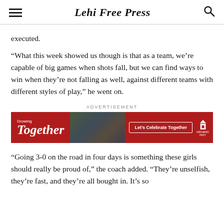Lehi Free Press
executed.
“What this week showed us though is that as a team, we’re capable of big games when shots fall, but we can find ways to win when they’re not falling as well, against different teams with different styles of play,” he went on.
[Figure (other): Advertisement banner for 'Growing Together' with red background, photo of people, and 'Let's Celebrate Together' button]
“Going 3-0 on the road in four days is something these girls should really be proud of,” the coach added. “They’re unselfish, they’re fast, and they’re all bought in. It’s so